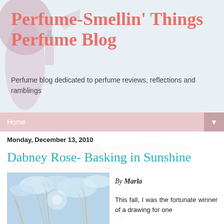Perfume-Smellin' Things Perfume Blog
Perfume blog dedicated to perfume reviews, reflections and ramblings
Home
Monday, December 13, 2010
Dabney Rose- Basking in Sunshine
[Figure (photo): Winter grasses or reeds against a blue cloudy sky]
By Marla
This fall, I was the fortunate winner of a drawing for one